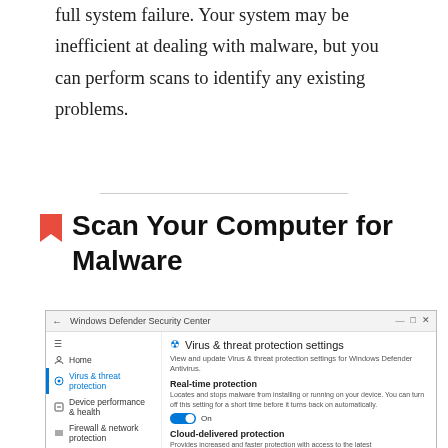full system failure. Your system may be inefficient at dealing with malware, but you can perform scans to identify any existing problems.
Scan Your Computer for Malware
[Figure (screenshot): Windows Defender Security Center screenshot showing Virus & threat protection settings panel with Real-time protection toggle set to On and Cloud-delivered protection section]